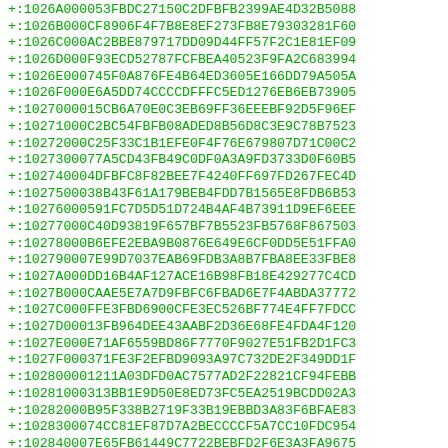+:1026A000053FBDC27150C2DFBFB2399AE4D32B5088
+:1026B000CF8906F4F7B8E8EF273FB8E79303281F60
+:1026C000AC2BBE879717DD09D44FF57F2C1E81EF09
+:1026D000F93ECD52787FCFBEA40523F9FA2C683994
+:1026E000745F0A876FE4B64ED3605E166DD79A505A
+:1026F000E6A5DD74CCCCDFFFC5ED1276EB6EB73905
+:1027000015CB6A70E0C3EB69FF36EEEBF92D5F96EF
+:10271000C2BC54FBFB08ADED8B56D8C3E9C78B7523
+:10272000C25F33C1B1EFE0F4F76E679807D71C00C2
+:1027300077A5CD43FB49C0DF0A3A9FD3733D0F60B5
+:102740004DFBFC8F82BEE7F4240FF697FD267FEC4D
+:1027500038B43F61A179BEB4FDD7B1565E8FDB6B53
+:10276000591FC7D5D51D724B4AF4B73911D9EF6EEE
+:10277000C40D93819F657BF7B5523FB5768F867503
+:10278000B6EFE2EBA9B0876E649E6CF0DD5E51FFA0
+:102790007E99D7037EAB69FDB3A8B7FBA8EE33FBE8
+:1027A000DD16B4AF127ACE16B98FB18E429277C4CD
+:1027B000CAAE5E7A7D9FBFC6FBAD6E7F4ABDA37772
+:1027C000FFE3FBD6900CFE3EC526BF774E4FF7FDCC
+:1027D00013FB964DEE43AABF2D36E68FE4FDA4F120
+:1027E000E71AF6559BD86F7770F9027E51FB2D1FC3
+:1027F000371FE3F2EFBD9093A97C732DE2F349DD1F
+:102800001211A03DFD0AC7577AD2F22821CF94FEBB
+:10281000313BB1E9D50E8ED73FC5EA2519BCDD02A3
+:10282000B95F338B2719F33B19EBBD3A83F6BFAE83
+:1028300074CC81EF87D7A2BECCCCF5A7CC10FDC954
+:102840007E65FB61449C7722BEBFD2F6E3A3FA9675
+:10285000BFE3BB4B48FEBE2AE5EFAA3F9B5811AF32
+:10286000AF7A3882E409ED697DE0E555BEDE752E6C
+:1028700005F7E01BF012FAFFD538799EC8FA3A6DACE
+:10288000D7E07E4A4267E02EED4D71A2A0FF0F00E4